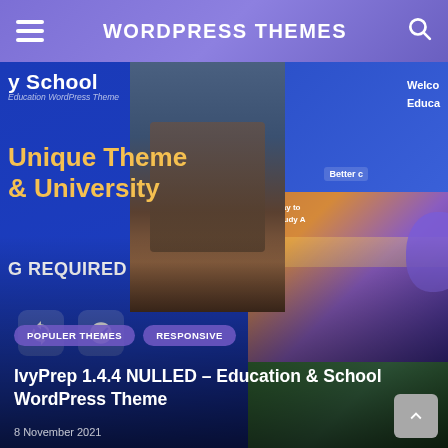WORDPRESS THEMES
[Figure (screenshot): Collage of IvyPrep Education & School WordPress Theme screenshots showing 'Unique Theme & University' text and multiple website mockups with purple/blue design]
POPULER THEMES   RESPONSIVE
IvyPrep 1.4.4 NULLED – Education & School WordPress Theme
8 November 2021